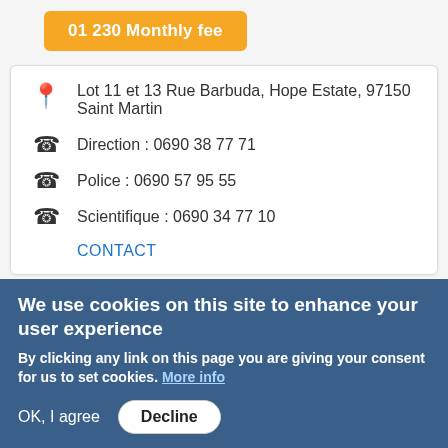[Figure (other): Orange button partially visible at top of page]
Lot 11 et 13 Rue Barbuda, Hope Estate, 97150 Saint Martin
Direction : 0690 38 77 71
Police : 0690 57 95 55
Scientifique : 0690 34 77 10
CONTACT
[Figure (photo): Photo of a lizard or small animal on green leaves and brown branch]
We use cookies on this site to enhance your user experience
By clicking any link on this page you are giving your consent for us to set cookies. More info
OK, I agree   Decline